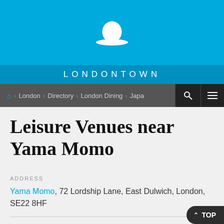[Figure (logo): LondonTown bowler hat logo in white on blue background]
LONDONTOWN
Home > London > Directory > London Dining > Japa...
Leisure Venues near Yama Momo
ADDRESS
Yama Momo, 72 Lordship Lane, East Dulwich, London, SE22 8HF
PRICES
£26 to £40